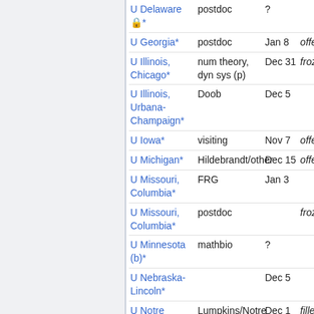| Institution | Type | Date | Status |
| --- | --- | --- | --- |
| U Delaware 🔒* | postdoc | ? |  |
| U Georgia* | postdoc | Jan 8 | offers |
| U Illinois, Chicago* | num theory, dyn sys (p) | Dec 31 | frozen |
| U Illinois, Urbana-Champaign* | Doob | Dec 5 |  |
| U Iowa* | visiting | Nov 7 | offers |
| U Michigan* | Hildebrandt/other | Dec 15 | offers |
| U Missouri, Columbia* | FRG | Jan 3 |  |
| U Missouri, Columbia* | postdoc |  | frozen |
| U Minnesota (b)* | mathbio | ? |  |
| U Nebraska-Lincoln* |  | Dec 5 |  |
| U Notre Dame* | Lumpkins/Notre Dame | Dec 1 | filled (2 |